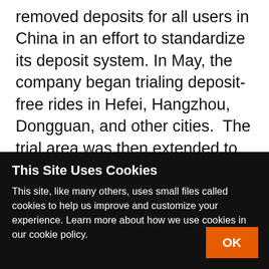removed deposits for all users in China in an effort to standardize its deposit system. In May, the company began trialing deposit-free rides in Hefei, Hangzhou, Dongguan, and other cities.  The trial area was then extended to one hundred areas around the country, including second and third-tier cities. However, a [...]
[Figure (photo): Photo of orange and black bicycles/bikes, partially visible, with dark background, rounded corners]
This Site Uses Cookies
This site, like many others, uses small files called cookies to help us improve and customize your experience. Learn more about how we use cookies in our cookie policy.